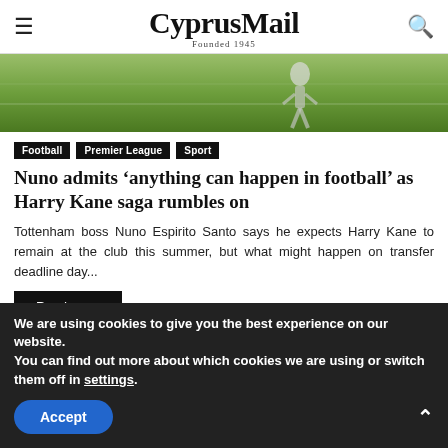CyprusMail Founded 1945
[Figure (photo): Sports photo showing a footballer on a green grass pitch, partially cropped at top of article]
Football
Premier League
Sport
Nuno admits ‘anything can happen in football’ as Harry Kane saga rumbles on
Tottenham boss Nuno Espirito Santo says he expects Harry Kane to remain at the club this summer, but what might happen on transfer deadline day...
Read more
We are using cookies to give you the best experience on our website.
You can find out more about which cookies we are using or switch them off in settings.